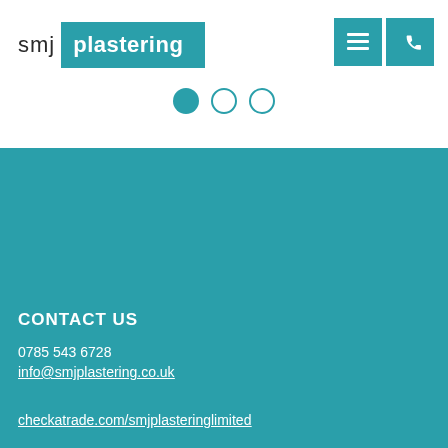[Figure (logo): SMJ Plastering logo with 'smj' in grey and 'plastering' in white on teal background]
[Figure (infographic): Navigation dots: one filled teal circle and two empty circle outlines]
CONTACT US
0785 543 6728
info@smjplastering.co.uk
checkatrade.com/smjplasteringlimited
[Figure (infographic): Four white square social media icons on teal background: Twitter, Instagram, Facebook, LinkedIn]
© Copyright 2015 SMJ Plastering Limited. All Rights Reserved
Company Number: 9378566
Web design by Twentytwo